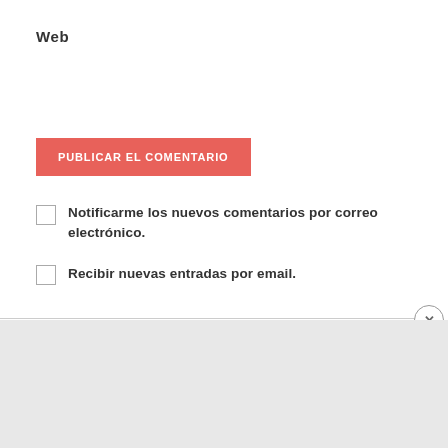Web
PUBLICAR EL COMENTARIO
Notificarme los nuevos comentarios por correo electrónico.
Recibir nuevas entradas por email.
Anuncios
[Figure (screenshot): DuckDuckGo advertisement banner: orange background with text 'Search, browse, and email with more privacy. All in One Free App' with phone mockup and DuckDuckGo logo]